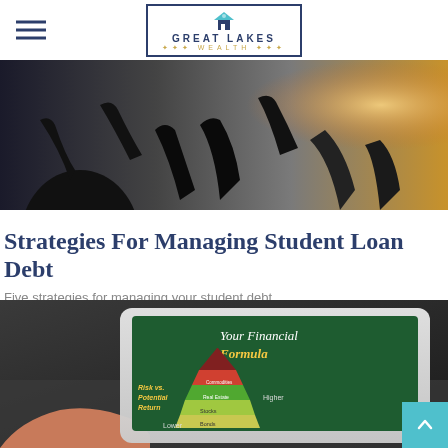Great Lakes Wealth
[Figure (photo): Silhouettes of people with hands raised against a bright sky, shot from below.]
Strategies For Managing Student Loan Debt
Five strategies for managing your student debt.
[Figure (photo): A hand holding a tablet showing 'Your Financial Formula' with a Risk vs. Potential Return pyramid chart on a green background.]